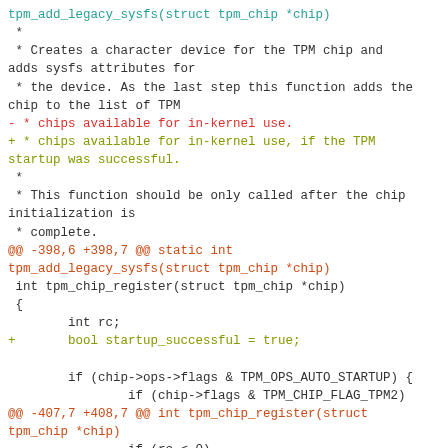[Figure (screenshot): A code diff screenshot showing a patch to tpm_add_legacy_sysfs and tpm_chip_register functions in a Linux kernel TPM driver. Lines in cyan are context/function signatures, red lines are deletions, green lines are additions, and orange lines are diff hunk headers.]